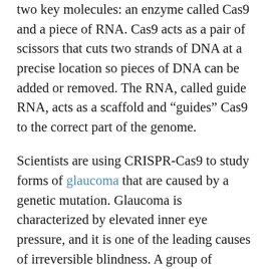two key molecules: an enzyme called Cas9 and a piece of RNA. Cas9 acts as a pair of scissors that cuts two strands of DNA at a precise location so pieces of DNA can be added or removed. The RNA, called guide RNA, acts as a scaffold and “guides” Cas9 to the correct part of the genome.
Scientists are using CRISPR-Cas9 to study forms of glaucoma that are caused by a genetic mutation. Glaucoma is characterized by elevated inner eye pressure, and it is one of the leading causes of irreversible blindness. A group of researchers led by the University of Iowa found that repairing a mutation in a protein called myocilin can prevent elevated inner eye pressure. Myocilin is located in the trabecular meshwork, the part of the eye that